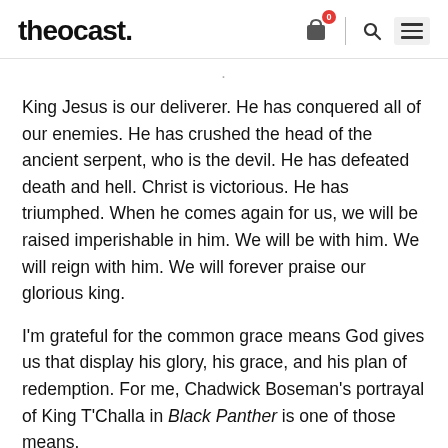theocast.
King Jesus is our deliverer. He has conquered all of our enemies. He has crushed the head of the ancient serpent, who is the devil. He has defeated death and hell. Christ is victorious. He has triumphed. When he comes again for us, we will be raised imperishable in him. We will be with him. We will reign with him. We will forever praise our glorious king.
I'm grateful for the common grace means God gives us that display his glory, his grace, and his plan of redemption. For me, Chadwick Boseman's portrayal of King T'Challa in Black Panther is one of those means.